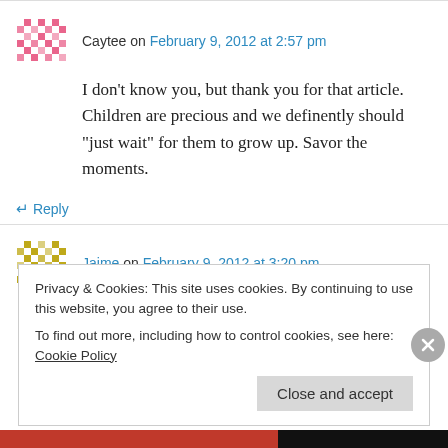Caytee on February 9, 2012 at 2:57 pm
I don’t know you, but thank you for that article. Children are precious and we definently should “just wait” for them to grow up. Savor the moments.
↵ Reply
Jaime on February 9, 2012 at 3:20 pm
Privacy & Cookies: This site uses cookies. By continuing to use this website, you agree to their use.
To find out more, including how to control cookies, see here: Cookie Policy
Close and accept